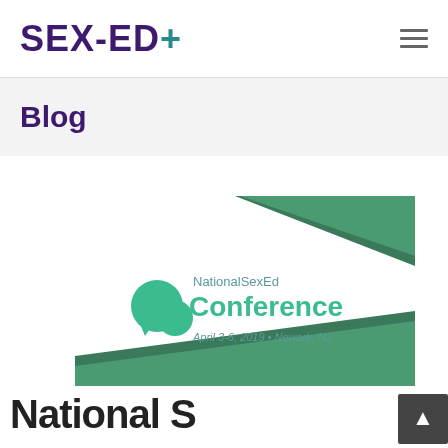SEX-ED+
Blog
[Figure (logo): NationalSexEd Conference logo with green speech bubble icon, text 'NationalSexEd Conference April 3-6, 2019 • Newark, NJ' on white background with green diagonal banner elements]
National S...